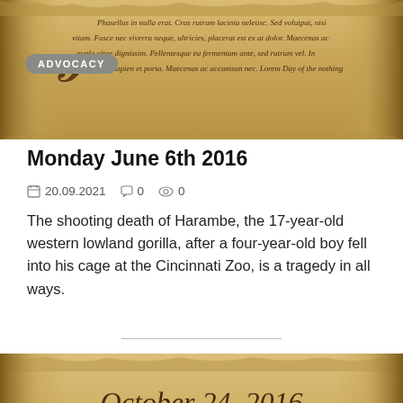[Figure (illustration): Decorative old parchment scroll at top with ornate letter and italic Lorem Ipsum style text, with an ADVOCACY badge overlay]
Monday June 6th 2016
20.09.2021   0   0
The shooting death of Harambe, the 17-year-old western lowland gorilla, after a four-year-old boy fell into his cage at the Cincinnati Zoo, is a tragedy in all ways.
[Figure (illustration): Decorative old parchment scroll at bottom showing 'October 24, 2016', '-- Monday --' subtitle, ornate letter and italic Lorem Ipsum style text]